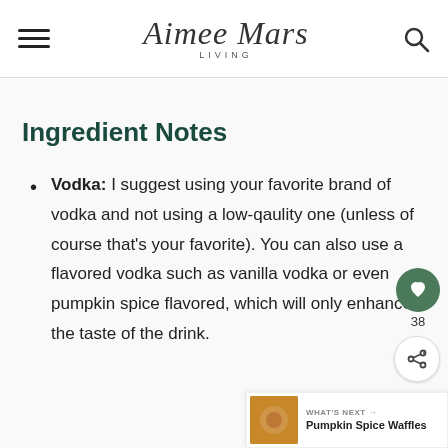Aimee Mars Living
Ingredient Notes
Vodka: I suggest using your favorite brand of vodka and not using a low-qaulity one (unless of course that's your favorite). You can also use a flavored vodka such as vanilla vodka or even pumpkin spice flavored, which will only enhance the taste of the drink.